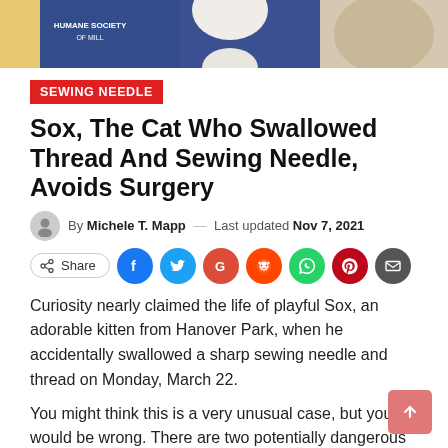[Figure (photo): Partial photo of a person wearing a blue humane society uniform/jacket, with a white animal (cat) visible]
SEWING NEEDLE
Sox, The Cat Who Swallowed Thread And Sewing Needle, Avoids Surgery
By Michele T. Mapp — Last updated Nov 7, 2021
[Figure (infographic): Social share buttons: Share, Facebook, Twitter, Google, Reddit, WhatsApp, Pinterest, Email]
Curiosity nearly claimed the life of playful Sox, an adorable kitten from Hanover Park, when he accidentally swallowed a sharp sewing needle and thread on Monday, March 22.
You might think this is a very unusual case, but you would be wrong. There are two potentially dangerous foreign objects that